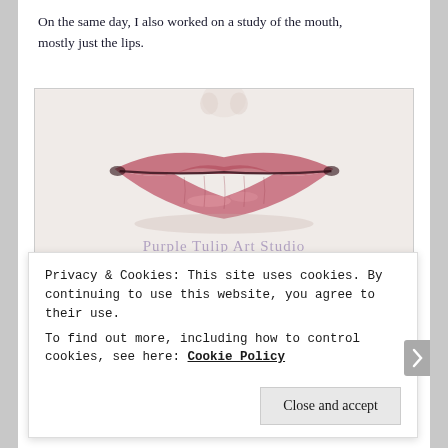On the same day, I also worked on a study of the mouth, mostly just the lips.
[Figure (illustration): A colored pencil or watercolor illustration of human lips (mouth study), shown close-up. Pink/red lips with detailed shading on a light background. Watermark text 'Purple Tulip Art Studio' overlaid in light purple.]
Several more days passed before I worked on the last one, which was the left eye. This one I actually worked on today. In the class, Jodi Ohl demonstrated both the dry
Privacy & Cookies: This site uses cookies. By continuing to use this website, you agree to their use.
To find out more, including how to control cookies, see here: Cookie Policy